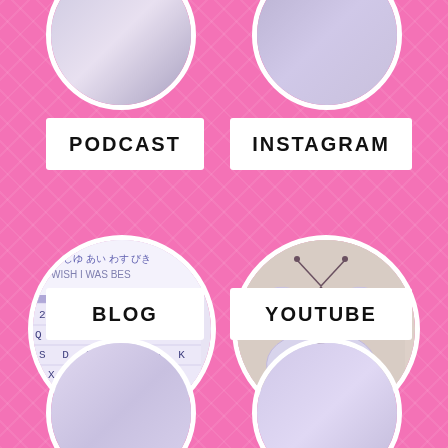[Figure (illustration): Top-left partial circle with soft purple/grey gradient content, partially cropped]
[Figure (illustration): Top-right partial circle with purple/silver gradient content, partially cropped]
PODCAST
INSTAGRAM
[Figure (photo): Circle containing a phone keyboard with Japanese text 'ういしゆ あい わす びき' and 'WISH I WAS BES' and QWERTY keyboard layout]
[Figure (photo): Circle containing a white/iridescent butterfly on skin background]
BLOG
YOUTUBE
[Figure (photo): Bottom-left partial circle with light purple content, partially cropped]
[Figure (photo): Bottom-right partial circle with purple/lavender content, partially cropped]